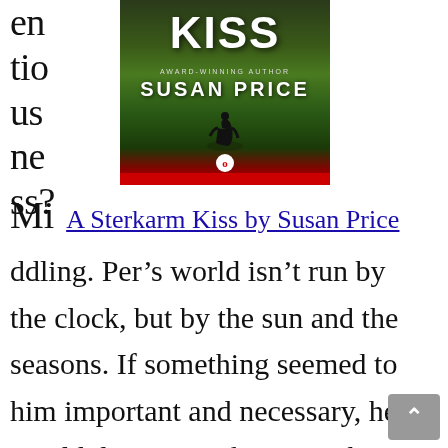en
tio
us
ne
ss?
[Figure (illustration): Book cover for 'A Sterkarm Kiss' by Susan Price. Dark fantasy/historical landscape with a mounted silhouette figure, mountains in background. Title 'KISS' in large white letters at top, 'Award-Winning Author' subtitle, 'Susan Price' in bold white letters below, publisher logo at bottom, red bar at bottom edge.]
Mi   A Sterkarm Kiss by Susan Price
ddling. Per’s world isn’t run by the clock, but by the sun and the seasons. If something seemed to him important and necessary, he would do it, or make sure others did it.